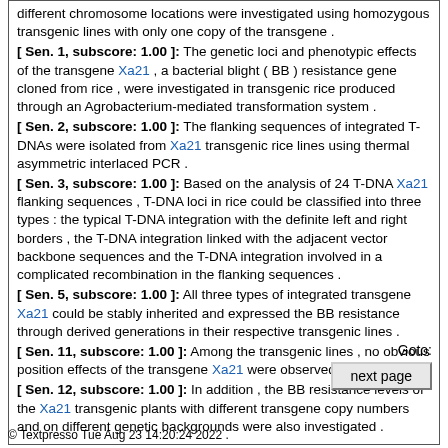different chromosome locations were investigated using homozygous transgenic lines with only one copy of the transgene . [ Sen. 1, subscore: 1.00 ]: The genetic loci and phenotypic effects of the transgene Xa21 , a bacterial blight ( BB ) resistance gene cloned from rice , were investigated in transgenic rice produced through an Agrobacterium-mediated transformation system . [ Sen. 2, subscore: 1.00 ]: The flanking sequences of integrated T-DNAs were isolated from Xa21 transgenic rice lines using thermal asymmetric interlaced PCR . [ Sen. 3, subscore: 1.00 ]: Based on the analysis of 24 T-DNA Xa21 flanking sequences , T-DNA loci in rice could be classified into three types : the typical T-DNA integration with the definite left and right borders , the T-DNA integration linked with the adjacent vector backbone sequences and the T-DNA integration involved in a complicated recombination in the flanking sequences . [ Sen. 5, subscore: 1.00 ]: All three types of integrated transgene Xa21 could be stably inherited and expressed the BB resistance through derived generations in their respective transgenic lines . [ Sen. 11, subscore: 1.00 ]: Among the transgenic lines , no obvious position effects of the transgene Xa21 were observed . [ Sen. 12, subscore: 1.00 ]: In addition , the BB resistance levels of the Xa21 transgenic plants with different transgene copy numbers and on different genetic backgrounds were also investigated .
Goto:
next page
© Textpresso Tue Aug 23 14:20:24 2022 .